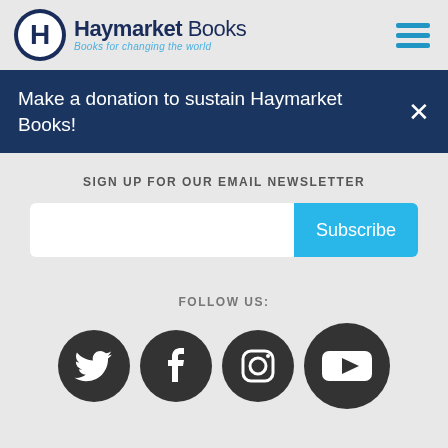[Figure (logo): Haymarket Books logo with circular H icon and tagline 'Books for changing the world']
Make a donation to sustain Haymarket Books!
SIGN UP FOR OUR EMAIL NEWSLETTER
[Figure (screenshot): Email input field and Subscribe button]
FOLLOW US:
[Figure (infographic): Social media icons: Twitter, Facebook, Instagram, YouTube]